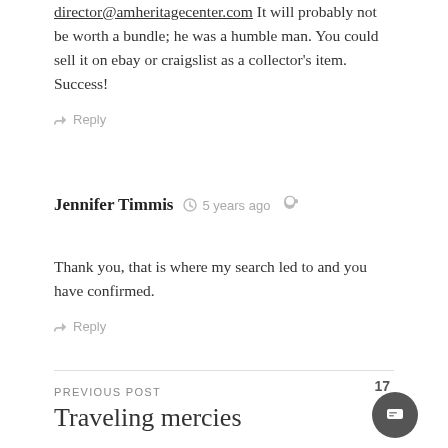director@amheritagecenter.com It will probably not be worth a bundle; he was a humble man. You could sell it on ebay or craigslist as a collector's item. Success!
↳ Reply
Jennifer Timmis  🕐 5 years ago
Thank you, that is where my search led to and you have confirmed.
↳ Reply
PREVIOUS POST
Traveling mercies